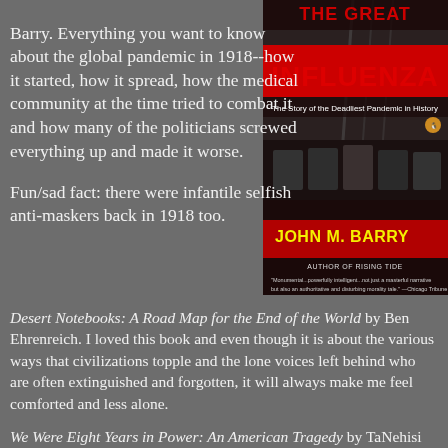Barry. Everything you want to know about the global pandemic in 1918--how it started, how it spread, how the medical community at the time tried to combat it and how many of the politicians screwed everything up and made it worse.
[Figure (photo): Book cover of 'The Great Influenza: The Story of the Deadliest Pandemic in History' by John M. Barry, Author of Rising Tide. Cover shows black and white photo of hospital ward with patients. Title is in red and yellow text.]
Fun/sad fact: there were infantile selfish anti-maskers back in 1918 too.
Desert Notebooks: A Road Map for the End of the World by Ben Ehrenreich. I loved this book and even though it is about the various ways that civilizations topple and the lone voices left behind who are often extinguished and forgotten, it will always make me feel comforted and less alone.
We Were Eight Years in Power: An American Tragedy by TaNehisi Coates. I picked this one up because I thought, (erroneously), that because it was about the Obama